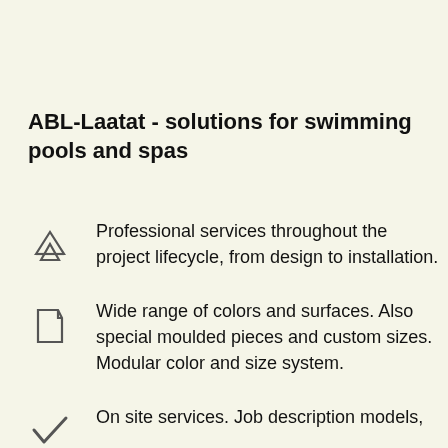ABL-Laatat - solutions for swimming pools and spas
Professional services throughout the project lifecycle, from design to installation.
Wide range of colors and surfaces. Also special moulded pieces and custom sizes. Modular color and size system.
On site services. Job description models,